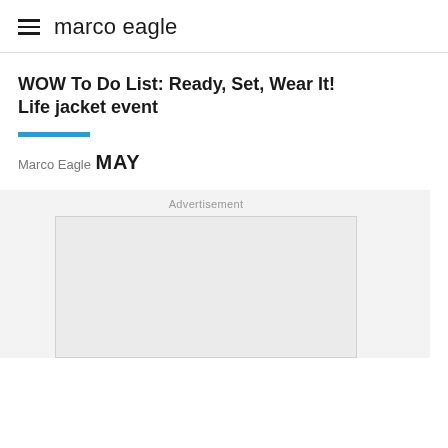marco eagle
WOW To Do List: Ready, Set, Wear It! Life jacket event
Marco Eagle
MAY
Advertisement